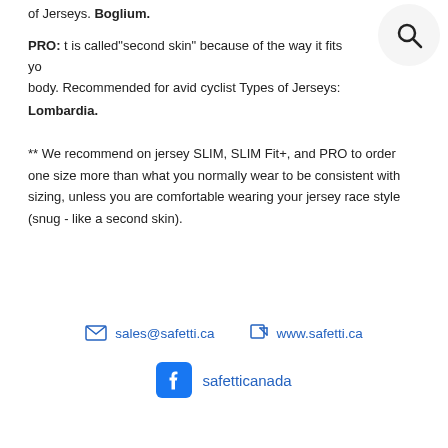of Jerseys. Boglium.
PRO: t is called"second skin" because of the way it fits your body. Recommended for avid cyclist Types of Jerseys: Lombardia.
** We recommend on jersey SLIM, SLIM Fit+, and PRO to order one size more than what you normally wear to be consistent with sizing, unless you are comfortable wearing your jersey race style (snug - like a second skin).
sales@safetti.ca   www.safetti.ca   safetticanada